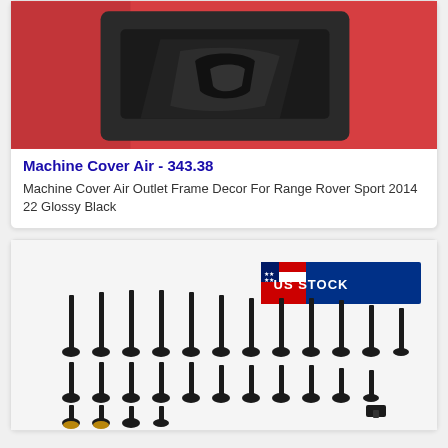[Figure (photo): Close-up photo of a glossy black air outlet frame decor on a red Range Rover Sport vehicle panel]
Machine Cover Air - 343.38
Machine Cover Air Outlet Frame Decor For Range Rover Sport 2014 22 Glossy Black
[Figure (photo): Collection of black bolts and screws arranged in rows on a white background, with a US STOCK banner in the top right corner]